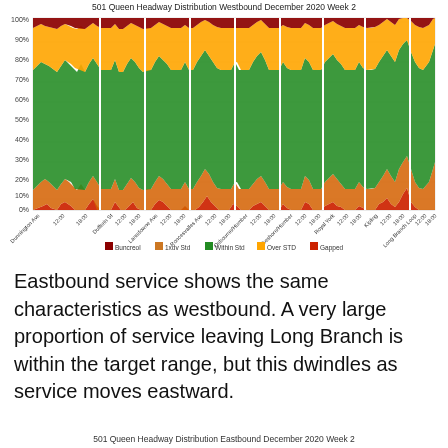[Figure (area-chart): Stacked area chart showing headway distribution (% proportions: Buncreol, <1xdv Std, Within Std, Over STD, Gapped) across westbound stops: Dunnington Ave, Dufferin St, Lansdowne Ave, Roncesvalles Ave, Osbourne/Humber, Lakeshore/Humber, Royal York, Kipling, Long Branch Loop. X-axis shows time (12:00, 18:00 per stop). Bands are dark red (top), yellow/gold, green (majority), orange, bright red (bottom).]
Eastbound service shows the same characteristics as westbound. A very large proportion of service leaving Long Branch is within the target range, but this dwindles as service moves eastward.
501 Queen Headway Distribution Eastbound December 2020 Week 2